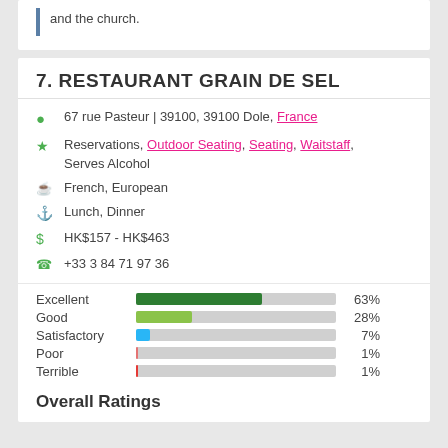and the church.
7. RESTAURANT GRAIN DE SEL
67 rue Pasteur | 39100, 39100 Dole, France
Reservations, Outdoor Seating, Seating, Waitstaff, Serves Alcohol
French, European
Lunch, Dinner
HK$157 - HK$463
+33 3 84 71 97 36
[Figure (bar-chart): Rating distribution]
Overall Ratings